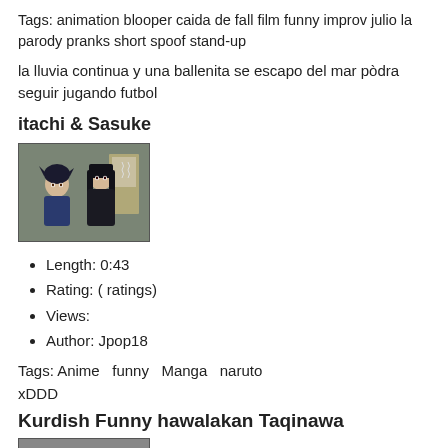Tags: animation blooper caida de fall film funny improv julio la parody pranks short spoof stand-up
la lluvia continua y una ballenita se escapo del mar pòdra seguir jugando futbol
itachi & Sasuke
[Figure (illustration): Anime thumbnail showing two characters (Itachi and Sasuke from Naruto) standing side by side against a grey-green background]
Length: 0:43
Rating: ( ratings)
Views:
Author: Jpop18
Tags: Anime  funny  Manga  naruto
xDDD
Kurdish Funny hawalakan Taqinawa